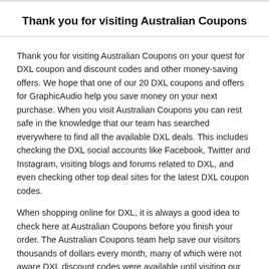Thank you for visiting Australian Coupons
Thank you for visiting Australian Coupons on your quest for DXL coupon and discount codes and other money-saving offers. We hope that one of our 20 DXL coupons and offers for GraphicAudio help you save money on your next purchase. When you visit Australian Coupons you can rest safe in the knowledge that our team has searched everywhere to find all the available DXL deals. This includes checking the DXL social accounts like Facebook, Twitter and Instagram, visiting blogs and forums related to DXL, and even checking other top deal sites for the latest DXL coupon codes.
When shopping online for DXL, it is always a good idea to check here at Australian Coupons before you finish your order. The Australian Coupons team help save our visitors thousands of dollars every month, many of which were not aware DXL discount codes were available until visiting our site. Now that you have learned how easy it is to save at